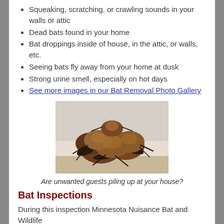Squeaking, scratching, or crawling sounds in your walls or attic
Dead bats found in your home
Bat droppings inside of house, in the attic, or walls, etc.
Seeing bats fly away from your home at dusk
Strong urine smell, especially on hot days
See more images in our Bat Removal Photo Gallery
[Figure (photo): A cluster of brown bats huddled together on a light-colored surface]
Are unwanted guests piling up at your house?
Bat Inspections
During this inspection Minnesota Nuisance Bat and Wildlife